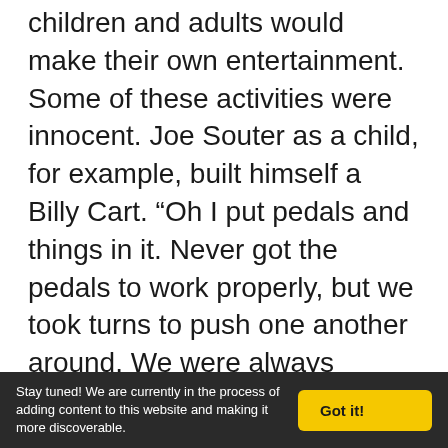children and adults would make their own entertainment. Some of these activities were innocent. Joe Souter as a child, for example, built himself a Billy Cart. “Oh I put pedals and things in it. Never got the pedals to work properly, but we took turns to push one another around. We were always mechanically inclined. None of us were ever taught. It was just natural. Just came out of the blue,” he says. But Joe also devised downright wicked entertainment with his brother, by setting small fires alight on the farm next door where their neighbour was
Stay tuned! We are currently in the process of adding content to this website and making it more discoverable.